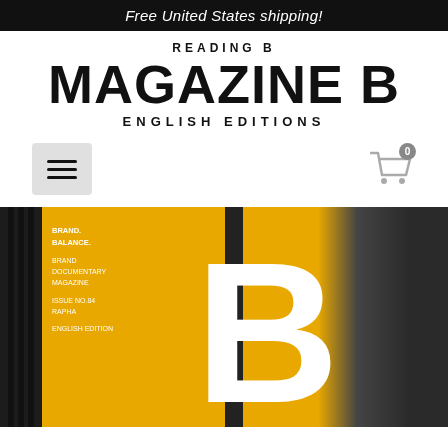Free United States shipping!
READING B
MAGAZINE B
ENGLISH EDITIONS
[Figure (screenshot): Navigation bar with hamburger menu icon on left and shopping cart icon with badge '0' on right]
[Figure (photo): Magazine B cover showing large white letter B on yellow background with dark vertical bars on left, text overlay reading BRAND. BALANCE. BRAND DOCUMENTARY MAGAZINE ISSUE NO.84 RAPHA ENGLISH EDITION, and a person in dark clothing on the right side]